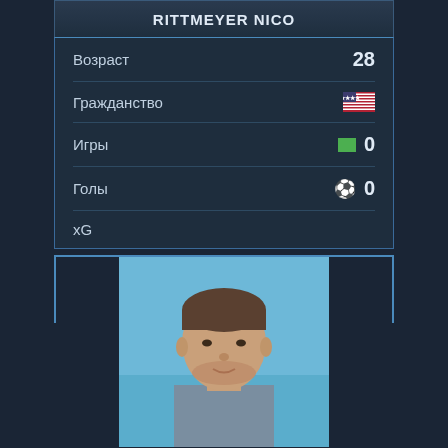RITTMEYER NICO
| Stat | Value |
| --- | --- |
| Возраст | 28 |
| Гражданство | 🇺🇸 |
| Игры | 0 |
| Голы | 0 |
| xG |  |
[Figure (photo): Headshot photo of Van Schaik Jarad, male athlete, light blue background]
VAN SCHAIK JARAD
| Stat | Value |
| --- | --- |
| Возраст | 33 |